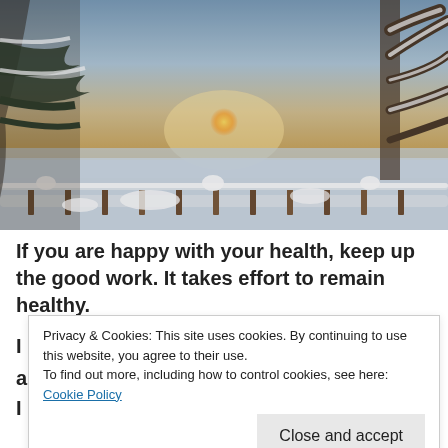[Figure (photo): Winter landscape photo showing snow-covered trees and deck railing with a sunset over a frozen lake or field in the background.]
If you are happy with your health, keep up the good work. It takes effort to remain healthy.
Privacy & Cookies: This site uses cookies. By continuing to use this website, you agree to their use.
To find out more, including how to control cookies, see here: Cookie Policy
Close and accept